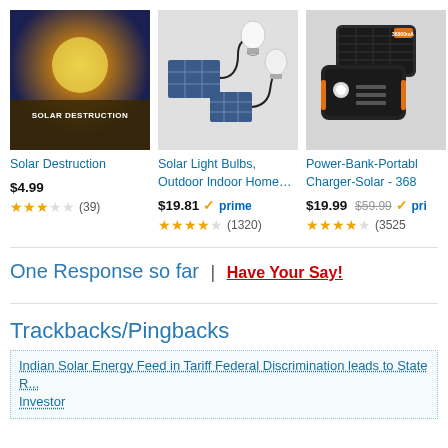[Figure (photo): Solar Destruction movie poster - dark blue/gold cinematic image with text 'SOLAR DESTRUCTION']
Solar Destruction
$4.99
★★★☆☆ (39)
[Figure (photo): Solar light bulbs kit with solar panel and two LED bulbs with cables on white background]
Solar Light Bulbs, Outdoor Indoor Home…
$19.81 ✓prime
★★★★☆ (1320)
[Figure (photo): Power bank portable charger solar - 36800mAh black rugged device with orange trim]
Power-Bank-Portable Charger-Solar - 368
$19.99 $59.99 ✓pri
★★★★☆ (3525)
One Response so far | Have Your Say!
Trackbacks/Pingbacks
Indian Solar Energy Feed in Tariff Federal Discrimination leads to State R... Investor